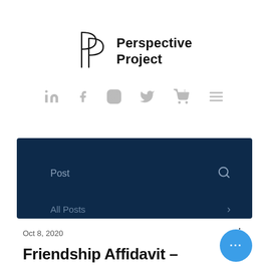[Figure (logo): Perspective Project logo: a stylized double-P outline icon with text 'Perspective Project' to the right]
[Figure (infographic): Navigation icons row: LinkedIn, Facebook, Instagram, Twitter, shopping cart with 0, hamburger menu — all in light gray]
[Figure (screenshot): Dark navy navigation bar with 'Post' label and search icon on top row, 'All Posts' with arrow on second row]
Oct 8, 2020
Friendship Affidavit –